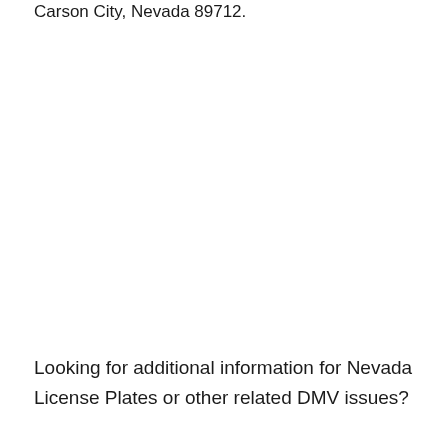Carson City, Nevada 89712.
Looking for additional information for Nevada License Plates or other related DMV issues?